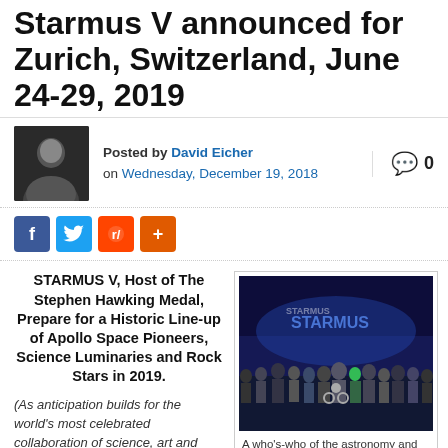Starmus V announced for Zurich, Switzerland, June 24-29, 2019
Posted by David Eicher on Wednesday, December 19, 2018  0
[Figure (infographic): Social media share buttons: Facebook, Twitter, Reddit, More]
STARMUS V, Host of The Stephen Hawking Medal, Prepare for a Historic Line-up of Apollo Space Pioneers, Science Luminaries and Rock Stars in 2019.
[Figure (photo): Group photo at Starmus Festival with STARMUS logo backdrop]
A who's-who of the astronomy and space science worlds regularly appears at the Starmus Festival. STARMUS FESTIVAL
(As anticipation builds for the world's most celebrated collaboration of science, art and music, STARMUS proudly